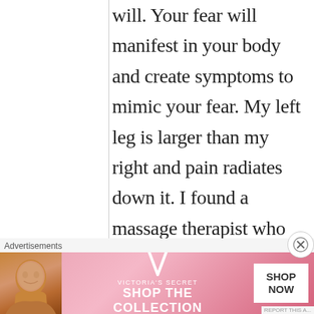will. Your fear will manifest in your body and create symptoms to mimic your fear. My left leg is larger than my right and pain radiates down it. I found a massage therapist who found that the fascia in my lower back that goes around the outside was messed up. Still working on it but better.
[Figure (screenshot): Victoria's Secret advertisement banner with model photo, VS logo, 'SHOP THE COLLECTION' text, and 'SHOP NOW' button]